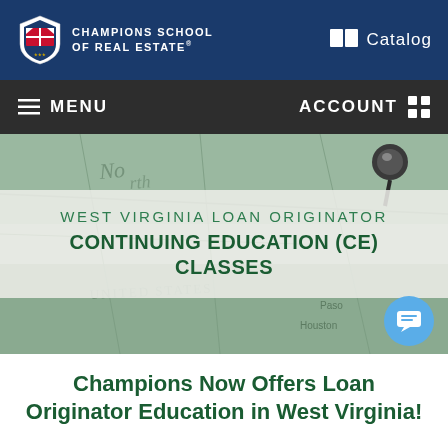CHAMPIONS SCHOOL OF REAL ESTATE® — Catalog
≡ MENU    ACCOUNT ⊞
[Figure (photo): Background hero image of a map with a pushpin, tinted green/teal, showing text 'NORTH', 'UNITED STATES', 'Paso', 'Houston']
WEST VIRGINIA LOAN ORIGINATOR CONTINUING EDUCATION (CE) CLASSES
Champions Now Offers Loan Originator Education in West Virginia!